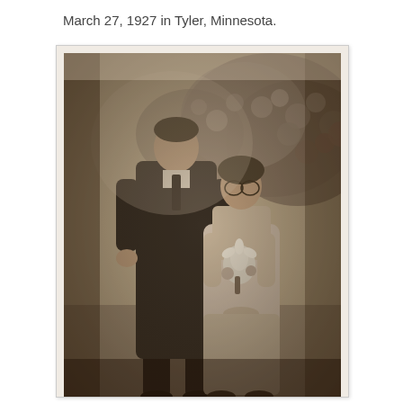March 27, 1927 in Tyler, Minnesota.
[Figure (photo): A sepia-toned vintage wedding photograph from 1927 showing a man in a dark suit with a tie standing next to a woman wearing a beret/cloche hat, glasses, and a light-colored dress holding a bouquet of flowers with a white lily. They are standing outdoors in front of flowering bushes or hedges.]